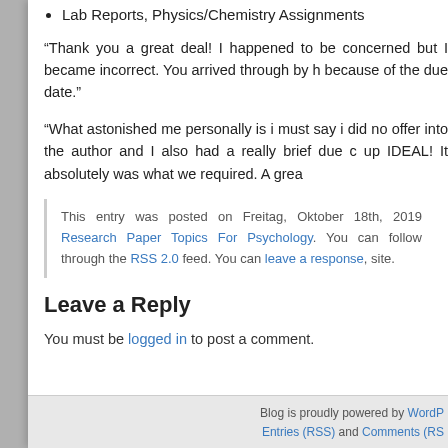Lab Reports, Physics/Chemistry Assignments
“Thank you a great deal! I happened to be concerned but I became incorrect. You arrived through by h because of the due date.”
“What astonished me personally is i must say i did no offer into the author and I also had a really brief due c up IDEAL! It absolutely was what we required. A grea
This entry was posted on Freitag, Oktober 18th, 2019 Research Paper Topics For Psychology. You can follow through the RSS 2.0 feed. You can leave a response, site.
Leave a Reply
You must be logged in to post a comment.
Blog is proudly powered by WordP Entries (RSS) and Comments (RS